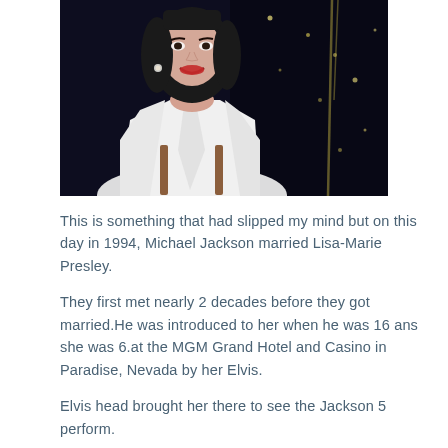[Figure (photo): A woman with dark hair wearing a white top, smiling, photographed against a dark background with some lights visible. She appears to be at an event or concert.]
This is something that had slipped my mind but on this day in 1994, Michael Jackson married Lisa-Marie Presley.
They first met nearly 2 decades before they got married.He was introduced to her when he was 16 ans she was 6.at the MGM Grand Hotel and Casino in Paradise, Nevada by her Elvis.
Elvis head brought her there to see the Jackson 5 perform.